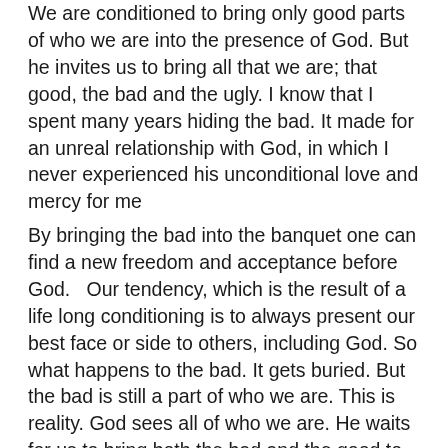We are conditioned to bring only good parts of who we are into the presence of God. But he invites us to bring all that we are; that good, the bad and the ugly. I know that I spent many years hiding the bad. It made for an unreal relationship with God, in which I never experienced his unconditional love and mercy for me
By bringing the bad into the banquet one can find a new freedom and acceptance before God. Our tendency, which is the result of a life long conditioning is to always present our best face or side to others, including God. So what happens to the bad. It gets buried. But the bad is still a part of who we are. This is reality. God sees all of who we are. He waits for us to bring both the bad and the good to the banquet. Again, men I tell you from experience, it is not until we bring our whole self into the presence of God, that we can experience and know his unconditional love. When you experience acceptance in all your shame and vulnerability, you will know that you are loved in the presence of a loving Father, who calls...